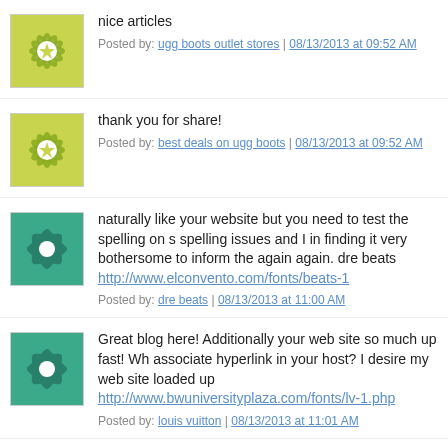[Figure (illustration): Green/yellow floral mandala avatar icon with white starburst center, square with border]
nice articles
Posted by: ugg boots outlet stores | 08/13/2013 at 09:52 AM
[Figure (illustration): Green/yellow floral mandala avatar icon with white starburst center, square with border]
thank you for share!
Posted by: best deals on ugg boots | 08/13/2013 at 09:52 AM
[Figure (illustration): Teal/green spiral pinwheel avatar icon, square with border]
naturally like your website but you need to test the spelling on s spelling issues and I in finding it very bothersome to inform the again again. dre beats http://www.elconvento.com/fonts/beats-1
Posted by: dre beats | 08/13/2013 at 11:00 AM
[Figure (illustration): Teal/green spiral pinwheel avatar icon, square with border]
Great blog here! Additionally your web site so much up fast! Wh associate hyperlink in your host? I desire my web site loaded up http://www.bwuniversityplaza.com/fonts/lv-1.php
Posted by: louis vuitton | 08/13/2013 at 11:01 AM
[Figure (illustration): Blue/white diagonal streaks avatar icon, square with border]
[url=http://www.gsgg7kxu10743nq2gk891t93jo8k042as.com/]ni nipyjshw